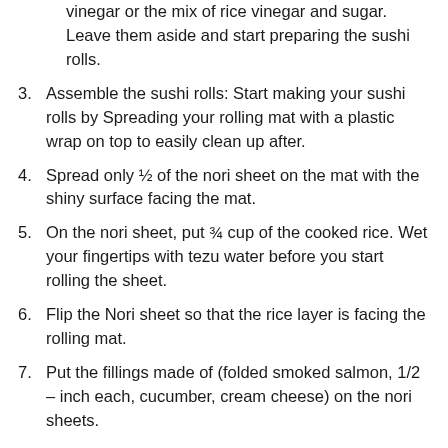vinegar or the mix of rice vinegar and sugar. Leave them aside and start preparing the sushi rolls.
3. Assemble the sushi rolls: Start making your sushi rolls by Spreading your rolling mat with a plastic wrap on top to easily clean up after.
4. Spread only ½ of the nori sheet on the mat with the shiny surface facing the mat.
5. On the nori sheet, put ¾ cup of the cooked rice. Wet your fingertips with tezu water before you start rolling the sheet.
6. Flip the Nori sheet so that the rice layer is facing the rolling mat.
7. Put the fillings made of (folded smoked salmon, 1/2 – inch each, cucumber, cream cheese) on the nori sheets.
8. With your thumbs beneath the rolling mat, lift the edge above the fillings and start rolling it away from you, all while gently yet firmly pressing on the roll.